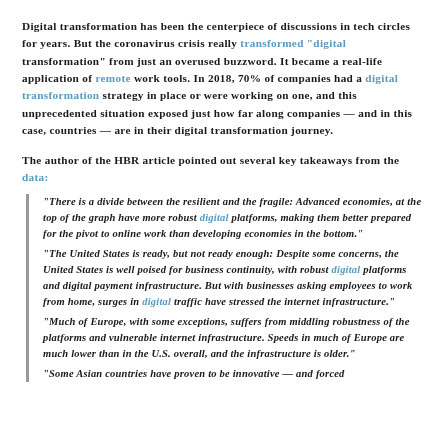Digital transformation has been the centerpiece of discussions in tech circles for years. But the coronavirus crisis really transformed "digital transformation" from just an overused buzzword. It became a real-life application of remote work tools. In 2018, 70% of companies had a digital transformation strategy in place or were working on one, and this unprecedented situation exposed just how far along companies — and in this case, countries — are in their digital transformation journey.
The author of the HBR article pointed out several key takeaways from the data:
"There is a divide between the resilient and the fragile: Advanced economies, at the top of the graph have more robust digital platforms, making them better prepared for the pivot to online work than developing economies in the bottom."
"The United States is ready, but not ready enough: Despite some concerns, the United States is well poised for business continuity, with robust digital platforms and digital payment infrastructure. But with businesses asking employees to work from home, surges in digital traffic have stressed the internet infrastructure."
"Much of Europe, with some exceptions, suffers from middling robustness of the platforms and vulnerable internet infrastructure. Speeds in much of Europe are much lower than in the U.S. overall, and the infrastructure is older."
"Some Asian countries have proven to be innovative — and forced